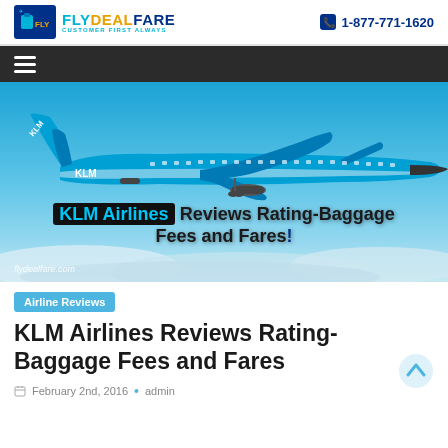FlyDealFare | CUSTOMER FIRST ALWAYS | 1-877-771-1620
[Figure (photo): KLM Airlines blue Boeing aircraft flying above clouds against blue sky, with hero text overlay: 'KLM Airlines Reviews Rating-Baggage Fees and Fares!' and watermark 'flydealfare.com']
Airline Reviews
KLM Airlines Reviews Rating-Baggage Fees and Fares
February 2nd, 2016 • admin